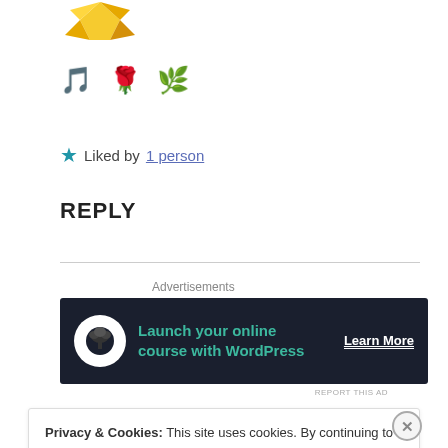[Figure (illustration): Partial golden origami/star emoji at top]
🎵 🌹 🌿
★ Liked by 1 person
REPLY
[Figure (other): Advertisement banner: Launch your online course with WordPress – Learn More]
REPORT THIS AD
Privacy & Cookies: This site uses cookies. By continuing to use this website, you agree to their use. To find out more, including how to control cookies, see here: Cookie Policy
Close and accept